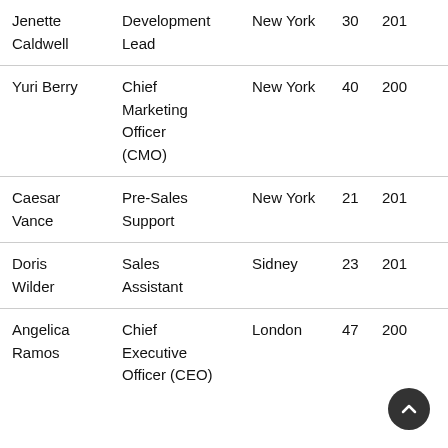| Name | Title | City | Age | Year |
| --- | --- | --- | --- | --- |
| Jenette Caldwell | Development Lead | New York | 30 | 201… |
| Yuri Berry | Chief Marketing Officer (CMO) | New York | 40 | 200… |
| Caesar Vance | Pre-Sales Support | New York | 21 | 201… |
| Doris Wilder | Sales Assistant | Sidney | 23 | 201… |
| Angelica Ramos | Chief Executive Officer (CEO) | London | 47 | 200… |